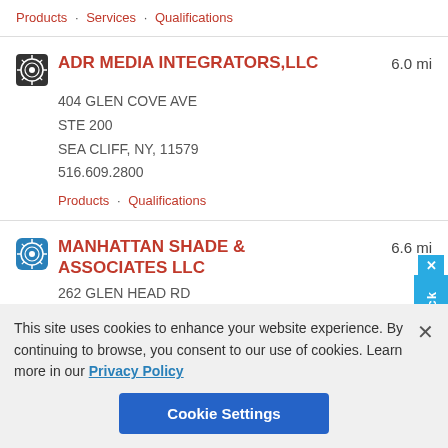Products · Services · Qualifications
ADR MEDIA INTEGRATORS,LLC
6.0 mi
404 GLEN COVE AVE
STE 200
SEA CLIFF, NY, 11579
516.609.2800
Products · Qualifications
MANHATTAN SHADE & ASSOCIATES LLC
6.6 mi
262 GLEN HEAD RD
GLEN HEAD, NY, 11545
This site uses cookies to enhance your website experience. By continuing to browse, you consent to our use of cookies. Learn more in our Privacy Policy
Cookie Settings